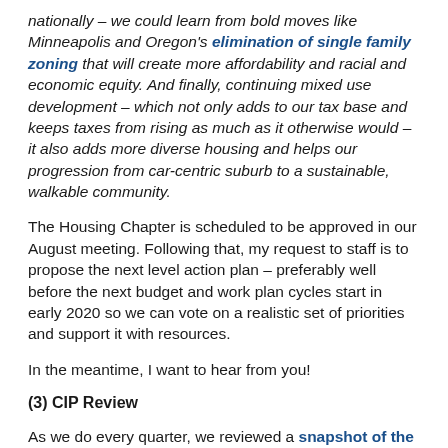nationally – we could learn from bold moves like Minneapolis and Oregon's elimination of single family zoning that will create more affordability and racial and economic equity. And finally, continuing mixed use development – which not only adds to our tax base and keeps taxes from rising as much as it otherwise would – it also adds more diverse housing and helps our progression from car-centric suburb to a sustainable, walkable community.
The Housing Chapter is scheduled to be approved in our August meeting. Following that, my request to staff is to propose the next level action plan – preferably well before the next budget and work plan cycles start in early 2020 so we can vote on a realistic set of priorities and support it with resources.
In the meantime, I want to hear from you!
(3) CIP Review
As we do every quarter, we reviewed a snapshot of the